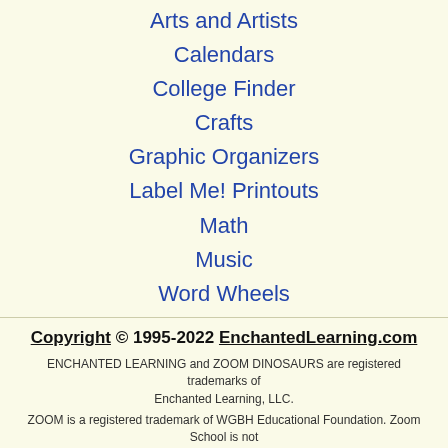Arts and Artists
Calendars
College Finder
Crafts
Graphic Organizers
Label Me! Printouts
Math
Music
Word Wheels
Copyright © 1995-2022 EnchantedLearning.com
ENCHANTED LEARNING and ZOOM DINOSAURS are registered trademarks of Enchanted Learning, LLC.
ZOOM is a registered trademark of WGBH Educational Foundation. Zoom School is not affiliated with WGBH Educational Foundation.